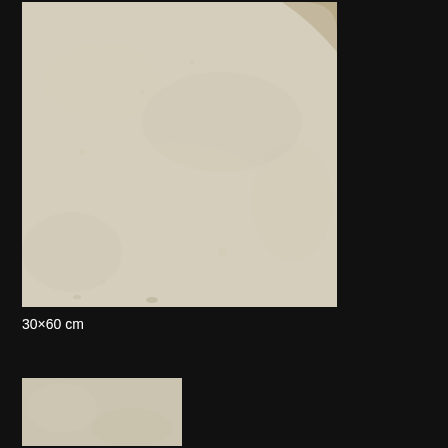[Figure (photo): Close-up photo of a rough stone or concrete tile surface with beige/cream texture and irregular surface with slight color variation at edges]
30×60 cm
[Figure (photo): Thumbnail of stone tile surface, partially visible]
[Figure (other): Chat widget with orange circular icon showing speech bubble icon, white popup saying We're offline / Leave a message, and reCAPTCHA badge]